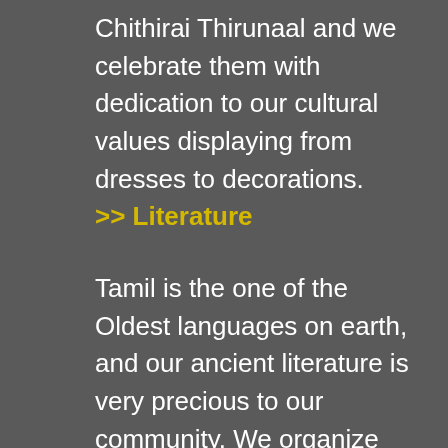Chithirai Thirunaal and we celebrate them with dedication to our cultural values displaying from dresses to decorations.
>> Literature
Tamil is the one of the Oldest languages on earth, and our ancient literature is very precious to our community. We organize Kaviarangam, Sollarangam, Pattimandram, Speech by academicians and literary stalwarts.